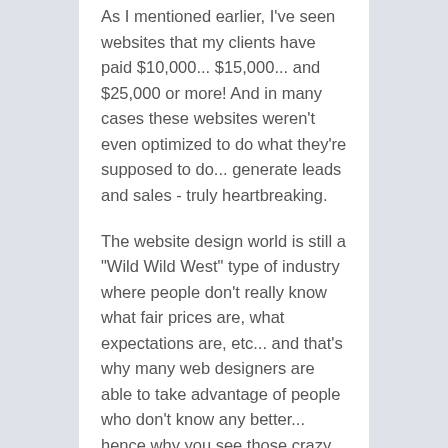As I mentioned earlier, I've seen websites that my clients have paid $10,000... $15,000... and $25,000 or more! And in many cases these websites weren't even optimized to do what they're supposed to do... generate leads and sales - truly heartbreaking.
The website design world is still a "Wild Wild West" type of industry where people don't really know what fair prices are, what expectations are, etc... and that's why many web designers are able to take advantage of people who don't know any better... hence why you see those crazy prices I mentioned above!
In my opinion, a fair price for a